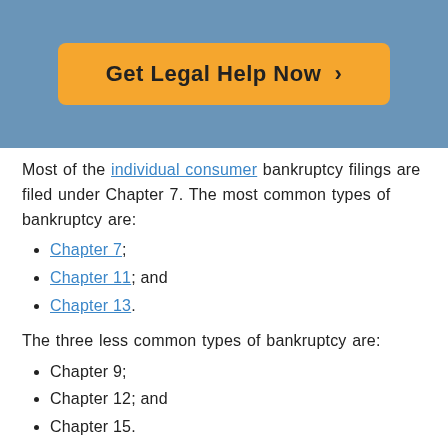[Figure (other): Blue banner with orange button labeled 'Get Legal Help Now >']
Most of the individual consumer bankruptcy filings are filed under Chapter 7. The most common types of bankruptcy are:
Chapter 7;
Chapter 11; and
Chapter 13.
The three less common types of bankruptcy are:
Chapter 9;
Chapter 12; and
Chapter 15.
Only a federal court is permitted to hear a bankruptcy case. A bankruptcy case cannot be filed in a state court.